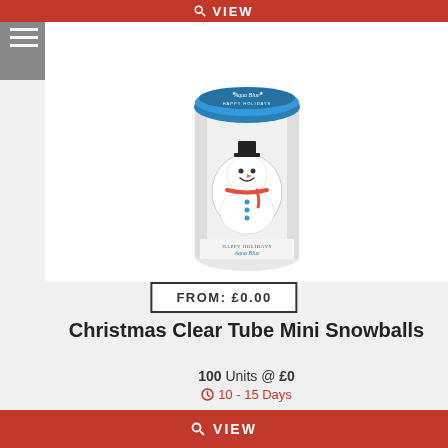VIEW
[Figure (photo): Christmas Clear Tube Mini Snowballs product in a cylindrical clear tube with a blue Aqua Blue branded cap and a snowman image, sitting on a white background]
FROM: £0.00
Christmas Clear Tube Mini Snowballs
100 Units @ £0
10 - 15 Days
VIEW